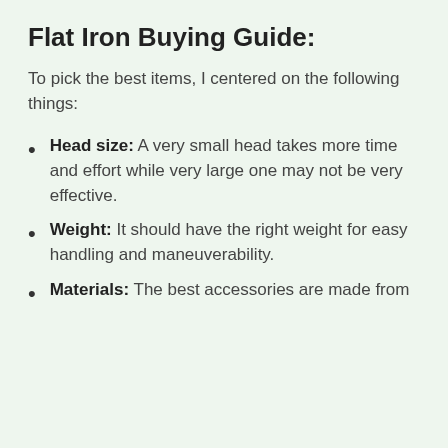Flat Iron Buying Guide:
To pick the best items, I centered on the following things:
Head size: A very small head takes more time and effort while very large one may not be very effective.
Weight: It should have the right weight for easy handling and maneuverability.
Materials: The best accessories are made from